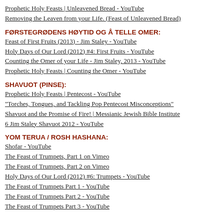Prophetic Holy Feasts | Unleavened Bread - YouTube
Removing the Leaven from your Life. (Feast of Unleavened Bread)
FØRSTEGRØDENS HØYTID OG Å TELLE OMER:
Feast of First Fruits (2013) - Jim Staley - YouTube
Holy Days of Our Lord (2012) #4: First Fruits - YouTube
Counting the Omer of your Life - Jim Staley, 2013 - YouTube
Prophetic Holy Feasts | Counting the Omer - YouTube
SHAVUOT (PINSE):
Prophetic Holy Feasts | Pentecost - YouTube
"Torches, Tongues, and Tackling Pop Pentecost Misconceptions"
Shavuot and the Promise of Fire! | Messianic Jewish Bible Institute
6 Jim Staley Shavuot 2012 - YouTube
YOM TERUA / ROSH HASHANA:
Shofar - YouTube
The Feast of Trumpets, Part 1 on Vimeo
The Feast of Trumpets, Part 2 on Vimeo
Holy Days of Our Lord (2012) #6: Trumpets - YouTube
The Feast of Trumpets Part 1 - YouTube
The Feast of Trumpets Part 2 - YouTube
The Feast of Trumpets Part 3 - YouTube